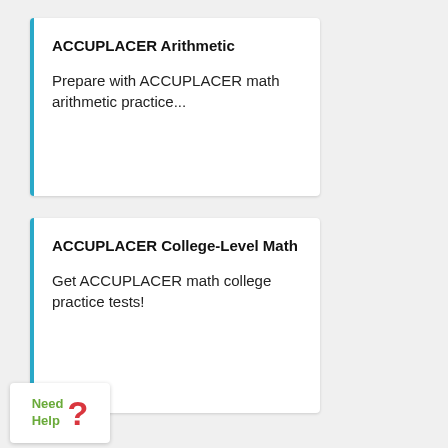ACCUPLACER Arithmetic
Prepare with ACCUPLACER math arithmetic practice...
ACCUPLACER College-Level Math
Get ACCUPLACER math college practice tests!
Need Help ?